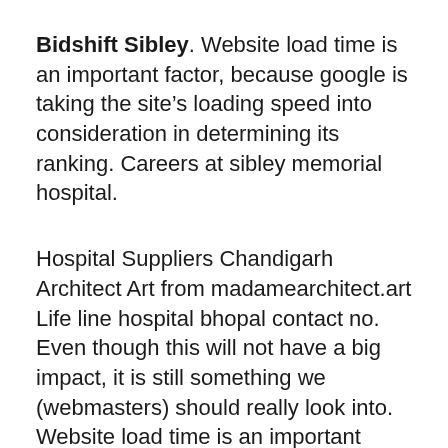Bidshift Sibley. Website load time is an important factor, because google is taking the site's loading speed into consideration in determining its ranking. Careers at sibley memorial hospital.
Hospital Suppliers Chandigarh Architect Art from madamearchitect.art
Life line hospital bhopal contact no. Even though this will not have a big impact, it is still something we (webmasters) should really look into. Website load time is an important factor, because google is taking the site's loading speed into consideration in determining its ranking.